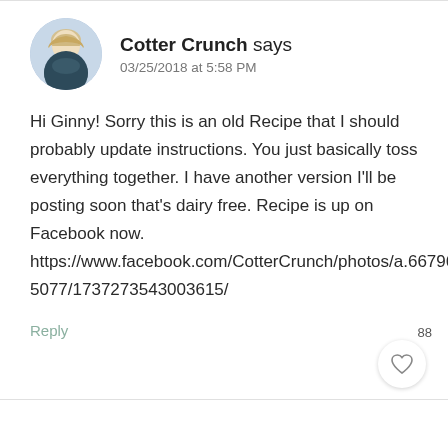Cotter Crunch says
03/25/2018 at 5:58 PM

Hi Ginny! Sorry this is an old Recipe that I should probably update instructions. You just basically toss everything together. I have another version I'll be posting soon that's dairy free. Recipe is up on Facebook now. https://www.facebook.com/CotterCrunch/photos/a.667966863267627.1073741829.66425903030 5077/1737273543003615/
Reply